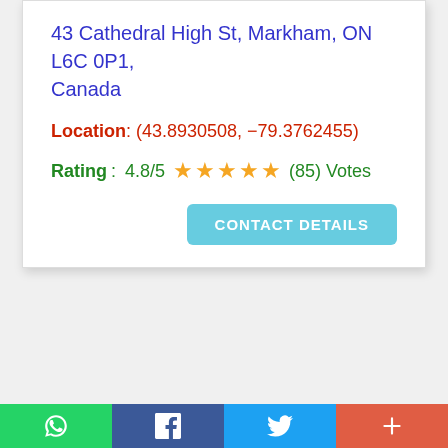43 Cathedral High St, Markham, ON L6C 0P1, Canada
Location: (43.8930508, -79.3762455)
Rating: 4.8/5 ★★★★★ (85) Votes